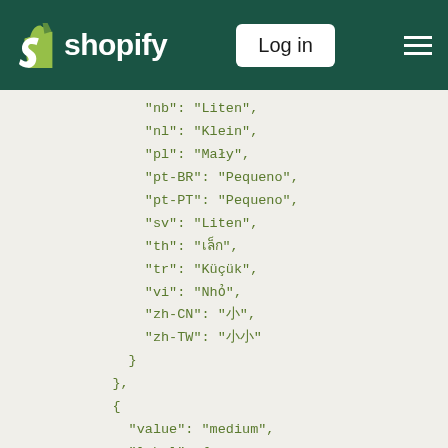Shopify — Log in
"nb": "Liten",
"nl": "Klein",
"pl": "Mały",
"pt-BR": "Pequeno",
"pt-PT": "Pequeno",
"sv": "Liten",
"th": "\u0e40\u0e25\u0e47\u0e01",
"tr": "Küçük",
"vi": "Nhỏ",
"zh-CN": "小",
"zh-TW": "小"
}
},
{
"value": "medium",
"label": {
"cs": "Střední",
"da": "Medium",